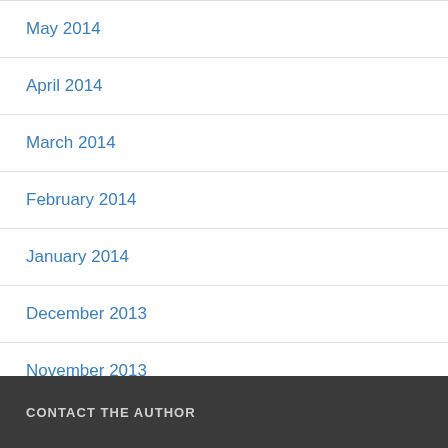May 2014
April 2014
March 2014
February 2014
January 2014
December 2013
November 2013
CONTACT THE AUTHOR